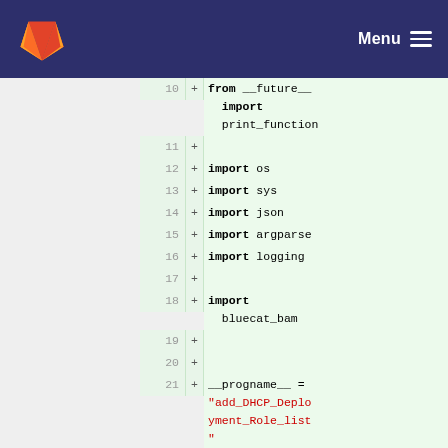GitLab navigation bar with logo and Menu button
[Figure (screenshot): GitLab code diff view showing Python source file lines 10-22 with added lines (green background), including imports and variable assignments]
10  + from __future__ import print_function
11  +
12  + import os
13  + import sys
14  + import json
15  + import argparse
16  + import logging
17  +
18  + import bluecat_bam
19  +
20  +
21  + __progname__ = "add_DHCP_Deployment_Role_list"
22  + __version__ = "0.1"